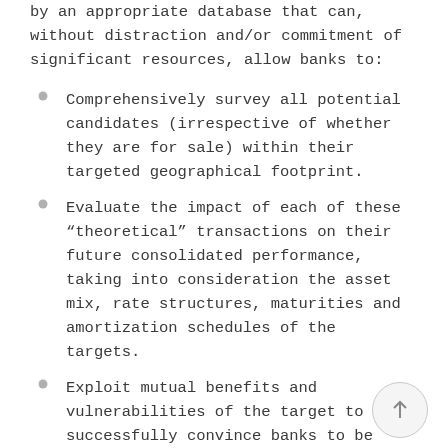by an appropriate database that can, without distraction and/or commitment of significant resources, allow banks to:
Comprehensively survey all potential candidates (irrespective of whether they are for sale) within their targeted geographical footprint.
Evaluate the impact of each of these “theoretical” transactions on their future consolidated performance, taking into consideration the asset mix, rate structures, maturities and amortization schedules of the targets.
Exploit mutual benefits and vulnerabilities of the target to successfully convince banks to be acquired.